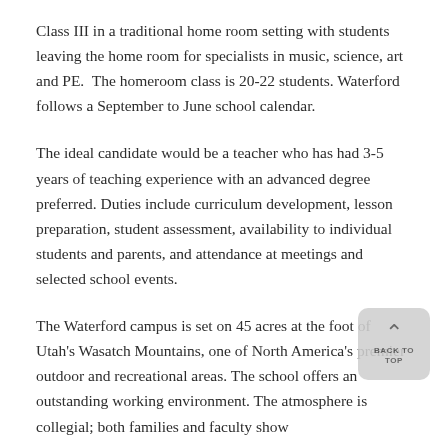Class III in a traditional home room setting with students leaving the home room for specialists in music, science, art and PE. The homeroom class is 20-22 students. Waterford follows a September to June school calendar.
The ideal candidate would be a teacher who has had 3-5 years of teaching experience with an advanced degree preferred. Duties include curriculum development, lesson preparation, student assessment, availability to individual students and parents, and attendance at meetings and selected school events.
The Waterford campus is set on 45 acres at the foot of Utah's Wasatch Mountains, one of North America's premier outdoor and recreational areas. The school offers an outstanding working environment. The atmosphere is collegial; both families and faculty show